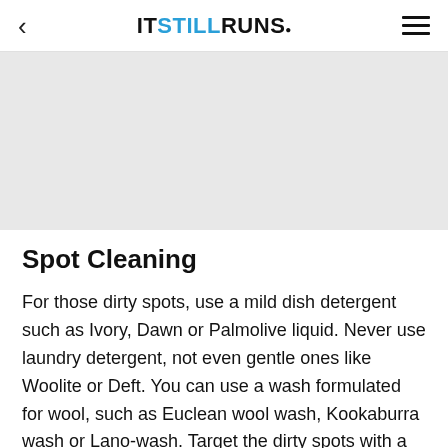ITSTILLRUNS.
[Figure (other): Light gray rectangular image placeholder area]
Spot Cleaning
For those dirty spots, use a mild dish detergent such as Ivory, Dawn or Palmolive liquid. Never use laundry detergent, not even gentle ones like Woolite or Deft. You can use a wash formulated for wool, such as Euclean wool wash, Kookaburra wash or Lano-wash. Target the dirty spots with a damp